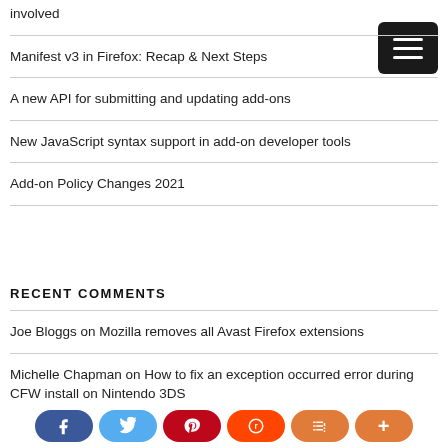involved
Manifest v3 in Firefox: Recap & Next Steps
A new API for submitting and updating add-ons
New JavaScript syntax support in add-on developer tools
Add-on Policy Changes 2021
RECENT COMMENTS
Joe Bloggs on Mozilla removes all Avast Firefox extensions
Michelle Chapman on How to fix an exception occurred error during CFW install on Nintendo 3DS